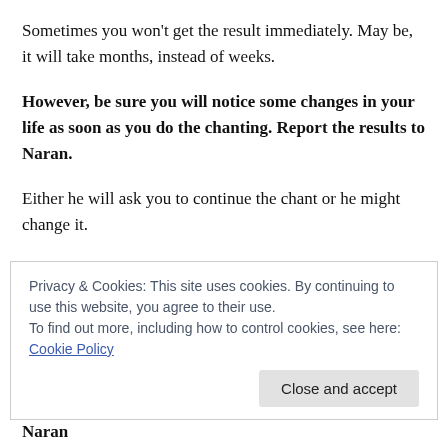Sometimes you won't get the result immediately. May be, it will take months, instead of weeks.
However, be sure you will notice some changes in your life as soon as you do the chanting. Report the results to Naran.
Either he will ask you to continue the chant or he might change it.
However, until you get the answer from him, keep chanting the same. It will only do you good.
Privacy & Cookies: This site uses cookies. By continuing to use this website, you agree to their use.
To find out more, including how to control cookies, see here: Cookie Policy
Naran